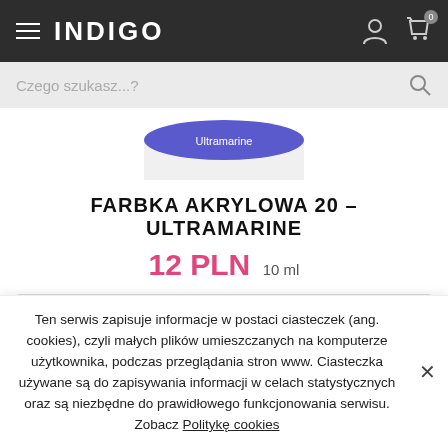INDIGO
Czego szukasz...?
[Figure (photo): Partial product image showing a jar labeled Ultramarine]
FARBKA AKRYLOWA 20 – ULTRAMARINE
12 PLN  10 ml
DODAJ DO KOSZYKA
Ten serwis zapisuje informacje w postaci ciasteczek (ang. cookies), czyli małych plików umieszczanych na komputerze użytkownika, podczas przeglądania stron www. Ciasteczka używane są do zapisywania informacji w celach statystycznych oraz są niezbędne do prawidłowego funkcjonowania serwisu. Zobacz Politykę cookies